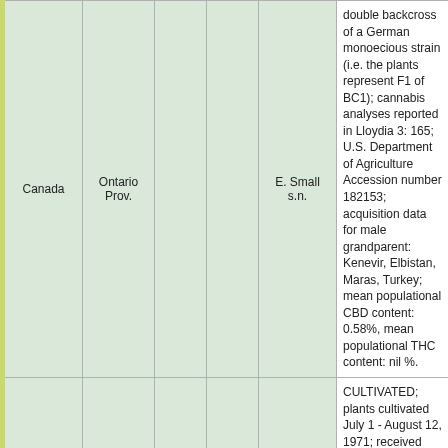| Country | Province/State | Col3 | Col4 | Collector | Notes |
| --- | --- | --- | --- | --- | --- |
| Canada | Ontario Prov. |  |  | E. Small s.n. | double backcross of a German monoecious strain (i.e. the plants represent F1 of BC1); cannabis analyses reported in Lloydia 3: 165; U.S. Department of Agriculture Accession number 182153; acquisition data for male grandparent: Kenevir, Elbistan, Maras, Turkey; mean populational CBD content: 0.58%, mean populational THC content: nil %. |
| Canada | Ontario Prov. |  |  | E. Small s.n. | CULTIVATED; plants cultivated July 1 - August 12, 1971; received from the U.S. Department of Agriculture and were bred by C.V. Feaster; plants represent the progeny of a double backcross of a German monoecious strain (i.e. the plants represent F1 of BC1); cannabis analyses reported in Lloydia 3: 165; U.S. Department of Agriculture Accession number 172763; acquisition data for male grandparent: seed dealer, Igdir, Kars, Turkey; mean populational CBD content: 0.7...; mean populational THC content: 0.01%. |